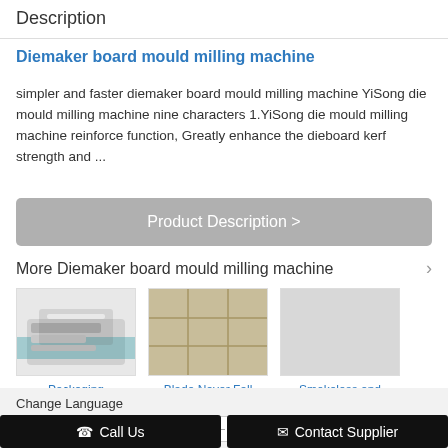Description
Diemaker board mould milling machine
simpler and faster diemaker board mould milling machine YiSong die mould milling machine nine characters 1.YiSong die mould milling machine reinforce function, Greatly enhance the dieboard kerf strength and ...
Product Description >
More Diemaker board mould milling machine
[Figure (photo): Packaging Printing Carton machine product image]
Packaging Printing Carton...
[Figure (photo): Blade Never Fall ECO Plywood product image]
Blade Never Fall ECO Plywood...
[Figure (photo): Smokeless and Tasteless Plywo... product image (blank/loading)]
Smokeless and Tasteless Plywo...
Change Language
Select Language
Call Us
Contact Supplier